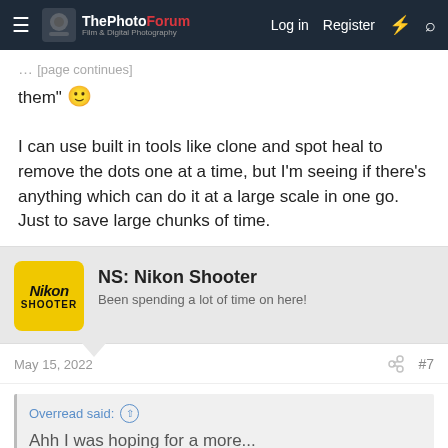The PhotoForum | Log in | Register
them" 🙂

I can use built in tools like clone and spot heal to remove the dots one at a time, but I'm seeing if there's anything which can do it at a large scale in one go. Just to save large chunks of time.
NS: Nikon Shooter
Been spending a lot of time on here!
May 15, 2022
#7
Overread said: ↑

Ahh I was hoping for a more...